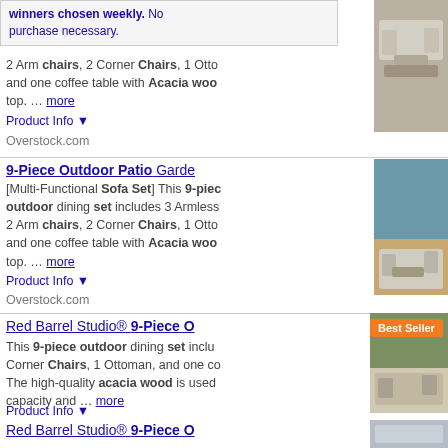winners chosen weekly. No purchase necessary.
[Figure (photo): Outdoor patio furniture set with sofa chairs around a coffee table]
2 Arm chairs, 2 Corner Chairs, 1 Otto and one coffee table with Acacia woo top. ... more
Product Info ▼
Overstock.com
9-Piece Outdoor Patio Garde
[Figure (photo): 9-piece outdoor patio garden furniture set near a pool]
[Multi-Functional Sofa Set] This 9-piec outdoor dining set includes 3 Armless 2 Arm chairs, 2 Corner Chairs, 1 Otto and one coffee table with Acacia woo top. ... more
Product Info ▼
Overstock.com
Red Barrel Studio® 9-Piece O
[Figure (photo): Red Barrel Studio 9-piece outdoor dining set - Best Seller]
This 9-piece outdoor dining set inclu Corner Chairs, 1 Ottoman, and one co The high-quality acacia wood is used capacity and ... more
Product Info ▼
Red Barrel Studio® 9-Piece O
[Figure (photo): Red Barrel Studio 9-piece outdoor dining set]
This 9-piece outdoor dining set inclu Corner Chairs, 1 Ottoman, and one co The high-quality acacia wood is used capacity and ... more
Product Info ▼